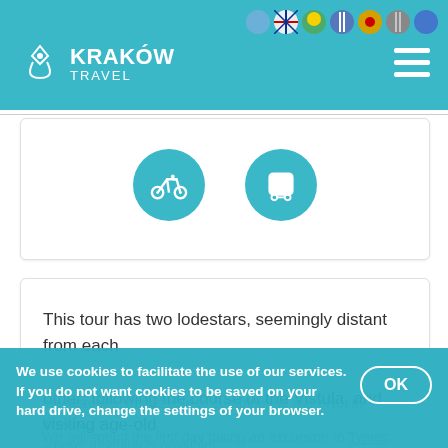[Figure (screenshot): Kraków Travel website header with teal background, logo with diamond location pin icon, KRAKÓW TRAVEL text, flag icons for language selection, and hamburger menu]
[Figure (infographic): White card with two teal circular icons: a bicycle icon and a bus icon, representing tour transport options]
This tour has two lodestars, seemingly distant from each other: following the course of the Vistula, and visiting age-old monasteries. Impossible to combine the two? Not in Kraków – here, anything is possible!
We use cookies to facilitate the use of our services. If you do not want cookies to be saved on your hard drive, change the settings of your browser.